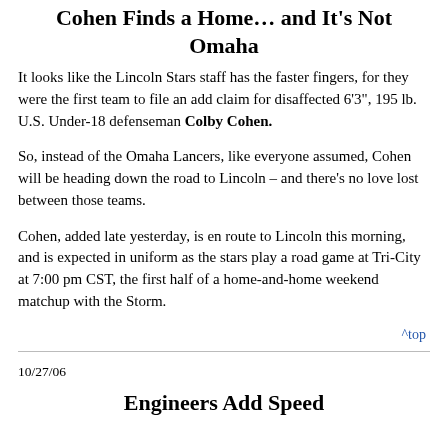Cohen Finds a Home… and It's Not Omaha
It looks like the Lincoln Stars staff has the faster fingers, for they were the first team to file an add claim for disaffected 6'3", 195 lb. U.S. Under-18 defenseman Colby Cohen.
So, instead of the Omaha Lancers, like everyone assumed, Cohen will be heading down the road to Lincoln – and there's no love lost between those teams.
Cohen, added late yesterday, is en route to Lincoln this morning, and is expected in uniform as the stars play a road game at Tri-City at 7:00 pm CST, the first half of a home-and-home weekend matchup with the Storm.
^top
10/27/06
Engineers Add Speed